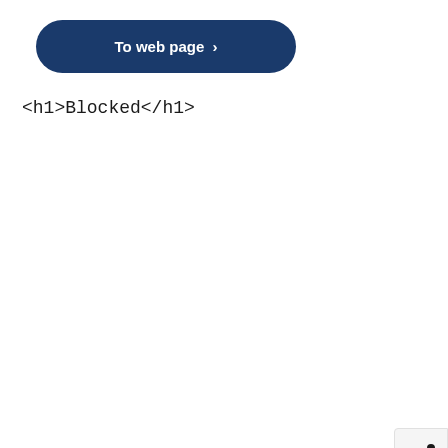[Figure (screenshot): A rounded blue button labeled 'To web page' with a right arrow, on a white background]
<h1>Blocked</h1>
[Figure (other): A share icon button (network/share symbol) in a light gray rounded square, positioned on the right edge of the page]